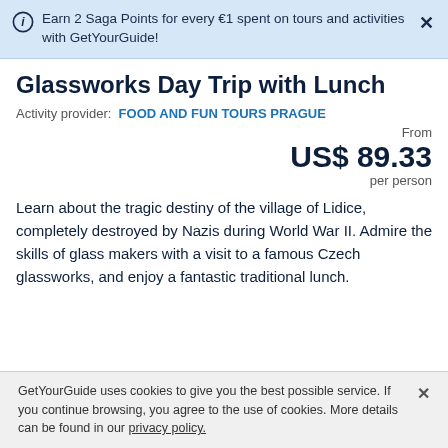Earn 2 Saga Points for every €1 spent on tours and activities with GetYourGuide!
Glassworks Day Trip with Lunch
Activity provider: FOOD AND FUN TOURS PRAGUE
From US$ 89.33 per person
Learn about the tragic destiny of the village of Lidice, completely destroyed by Nazis during World War II. Admire the skills of glass makers with a visit to a famous Czech glassworks, and enjoy a fantastic traditional lunch.
GetYourGuide uses cookies to give you the best possible service. If you continue browsing, you agree to the use of cookies. More details can be found in our privacy policy.